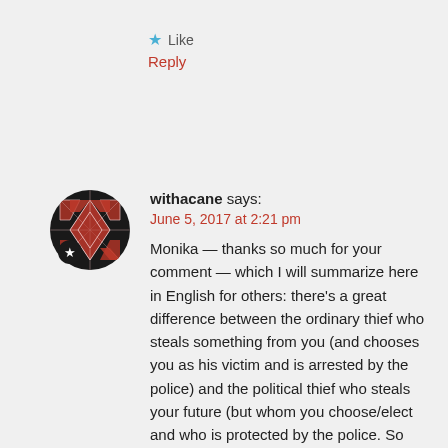★ Like
Reply
withacane says:
June 5, 2017 at 2:21 pm
Monika — thanks so much for your comment — which I will summarize here in English for others: there's a great difference between the ordinary thief who steals something from you (and chooses you as his victim and is arrested by the police) and the political thief who steals your future (but whom you choose/elect and who is protected by the police. So one must think in advance before choosing one's type of thief. Again thanks to your and
[Figure (illustration): Circular avatar image with a red/rose patterned geometric design and a small star badge overlay in the bottom-left, on a dark circular background]